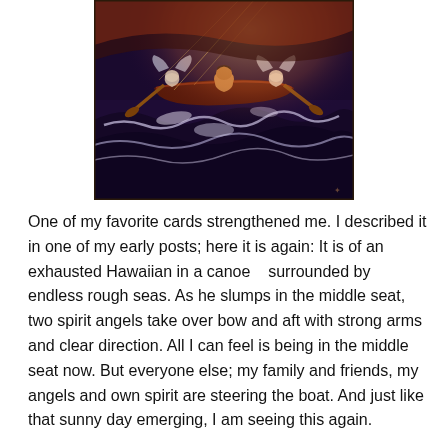[Figure (illustration): A colorful painting of an exhausted Hawaiian in a canoe surrounded by rough, swirling seas. Two spirit angels with strong arms paddle at the bow and aft. The ocean is dark purple and blue with white foam, and there are dramatic rays of light.]
One of my favorite cards strengthened me. I described it in one of my early posts; here it is again: It is of an exhausted Hawaiian in a canoe   surrounded by endless rough seas. As he slumps in the middle seat, two spirit angels take over bow and aft with strong arms and clear direction. All I can feel is being in the middle seat now. But everyone else; my family and friends, my angels and own spirit are steering the boat. And just like that sunny day emerging, I am seeing this again.